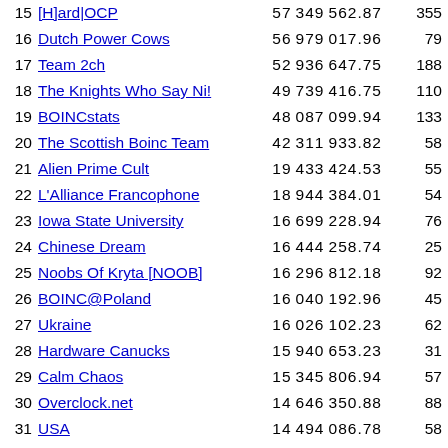| Rank | Team | Score | Members |
| --- | --- | --- | --- |
| 15 | [H]ard|OCP | 57349562.87 | 355 |
| 16 | Dutch Power Cows | 56979017.96 | 79 |
| 17 | Team 2ch | 52936647.75 | 188 |
| 18 | The Knights Who Say Ni! | 49739416.75 | 110 |
| 19 | BOINCstats | 48087099.94 | 133 |
| 20 | The Scottish Boinc Team | 42311933.82 | 58 |
| 21 | Alien Prime Cult | 19433424.53 | 55 |
| 22 | L'Alliance Francophone | 18944384.01 | 54 |
| 23 | Iowa State University | 16699228.94 | 76 |
| 24 | Chinese Dream | 16444258.74 | 25 |
| 25 | Noobs Of Kryta [NOOB] | 16296812.18 | 92 |
| 26 | BOINC@Poland | 16040192.96 | 45 |
| 27 | Ukraine | 16026102.23 | 62 |
| 28 | Hardware Canucks | 15940653.23 | 31 |
| 29 | Calm Chaos | 15345806.94 | 57 |
| 30 | Overclock.net | 14646350.88 | 88 |
| 31 | USA | 14494086.78 | 58 |
| 32 | Team Norway | 13728219.82 | 54 |
| 33 | Universe Examiners | 13103293.77 | 77 |
| 34 | Planet 3DNow! | 13101161.41 | 28 |